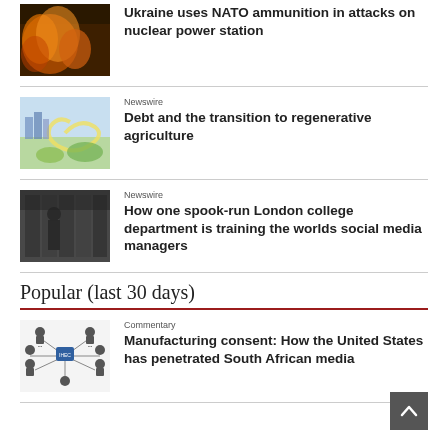[Figure (photo): Explosion/fire image thumbnail for NATO ammunition story]
Ukraine uses NATO ammunition in attacks on nuclear power station
[Figure (illustration): Illustrated scene of regenerative agriculture thumbnail]
Newswire
Debt and the transition to regenerative agriculture
[Figure (photo): Black and white photo of building/person for London college department story]
Newswire
How one spook-run London college department is training the worlds social media managers
Popular (last 30 days)
[Figure (infographic): Network diagram thumbnail showing South African media connections]
Commentary
Manufacturing consent: How the United States has penetrated South African media